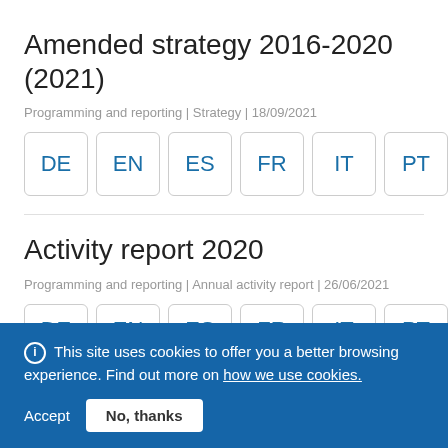Amended strategy 2016-2020 (2021)
Programming and reporting | Strategy | 18/09/2021
[Figure (other): Language selection buttons: DE, EN, ES, FR, IT, PT]
Activity report 2020
Programming and reporting | Annual activity report | 26/06/2021
[Figure (other): Language selection buttons (partially visible): DE, EN, ES, FR, IT, PT]
This site uses cookies to offer you a better browsing experience. Find out more on how we use cookies.
Accept   No, thanks